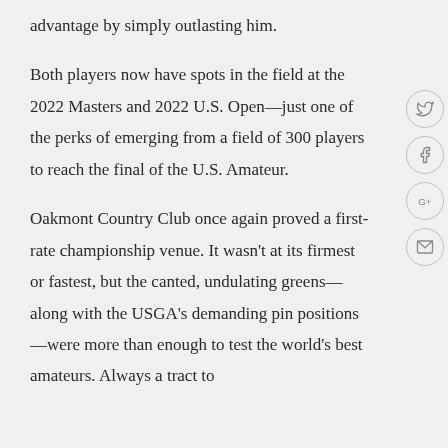advantage by simply outlasting him.
Both players now have spots in the field at the 2022 Masters and 2022 U.S. Open—just one of the perks of emerging from a field of 300 players to reach the final of the U.S. Amateur.
Oakmont Country Club once again proved a first-rate championship venue. It wasn't at its firmest or fastest, but the canted, undulating greens—along with the USGA's demanding pin positions—were more than enough to test the world's best amateurs. Always a tract to